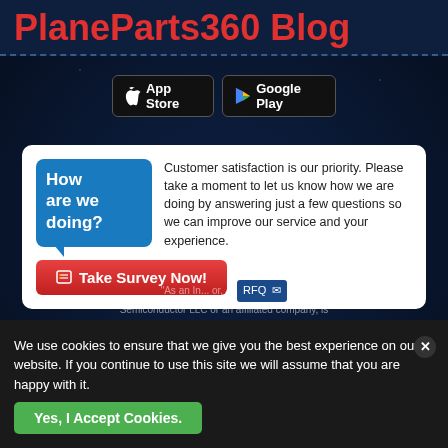PlaneParts360 Blog
[Figure (screenshot): App Store and Google Play download buttons on dark background]
[Figure (infographic): Survey card with 'How are we doing?' bubble, customer satisfaction text, and 'Take Survey Now!' button]
[Figure (illustration): Map location pin icon on dark starry background]
Copyright © 2022. All rights reserved to Plane Parts 360
"As an In... or, A   RFQ
Semiconductor LLC or an affiliated company, is
We use cookies to ensure that we give you the best experience on our website. If you continue to use this site we will assume that you are happy with it.
Yes, I Accept Cookies.